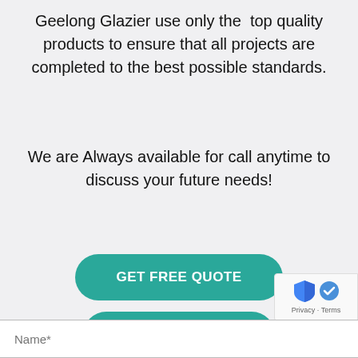Geelong Glazier use only the top quality products to ensure that all projects are completed to the best possible standards.
We are Always available for call anytime to discuss your future needs!
GET FREE QUOTE
Call Now
Name*